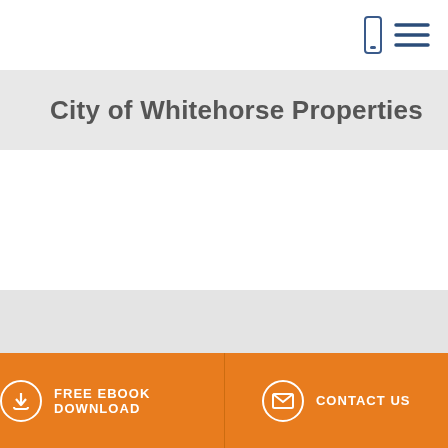City of Whitehorse Properties
[Figure (other): Grey placeholder content area]
FREE EBOOK DOWNLOAD   CONTACT US